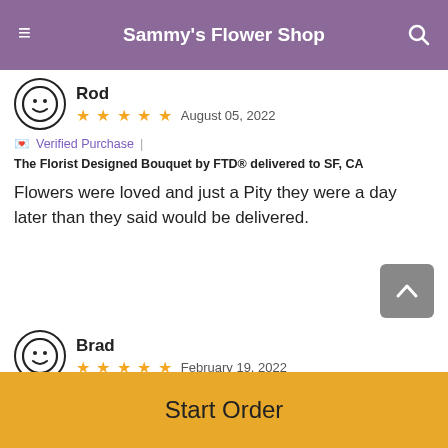Sammy's Flower Shop
Rod
★★★★★  August 05, 2022
💌 Verified Purchase | The Florist Designed Bouquet by FTD® delivered to SF, CA
Flowers were loved and just a Pity they were a day later than they said would be delivered.
Brad
★★★★★  February 19, 2022
💌 Verified Purchase | The FTD® True Romance™ Rose Bouquet delivered to SF, CA